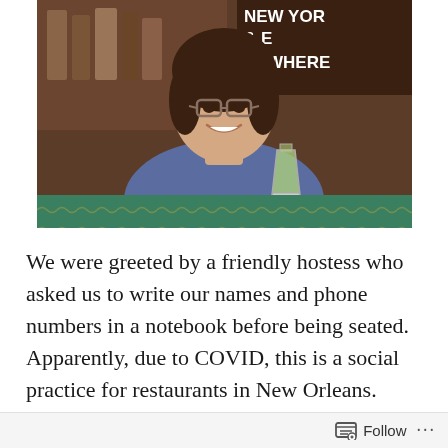[Figure (photo): A woman with glasses and dark hair smiling, wearing a blue t-shirt and holding a green margarita cocktail glass. She is seated at a green table in what appears to be a restaurant bar. In the background there is a dark sign with text reading 'NEW YORK E EVERYWHERE'.]
We were greeted by a friendly hostess who asked us to write our names and phone numbers in a notebook before being seated. Apparently, due to COVID, this is a social practice for restaurants in New Orleans. Appropriate social distancing was implemented within the dining area, so we felt comfortable. Emily was our waitress for the evening. She was lovely and took great care of us throughout the